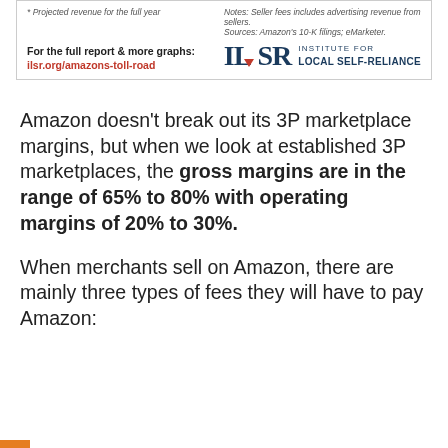* Projected revenue for the full year
Notes: Seller fees includes advertising revenue from sellers. Sources: Amazon's 10-K filings; eMarketer.
For the full report & more graphs:
ilsr.org/amazons-toll-road
[Figure (logo): ILSR Institute for Local Self-Reliance logo]
Amazon doesn't break out its 3P marketplace margins, but when we look at established 3P marketplaces, the gross margins are in the range of 65% to 80% with operating margins of 20% to 30%.
When merchants sell on Amazon, there are mainly three types of fees they will have to pay Amazon: